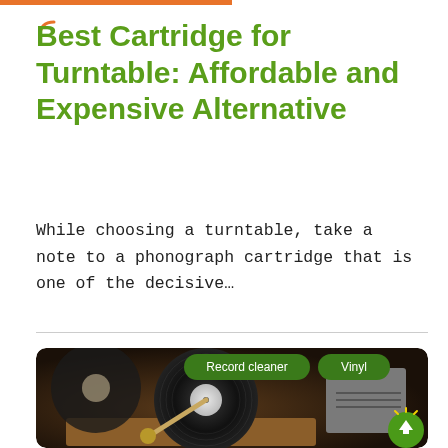Best Cartridge for Turntable: Affordable and Expensive Alternative
While choosing a turntable, take a note to a phonograph cartridge that is one of the decisive...
[Figure (photo): Photo of a vinyl record cleaning machine with two green category tags reading 'Record cleaner' and 'Vinyl'. A circular green scroll-up button appears in the bottom right corner.]